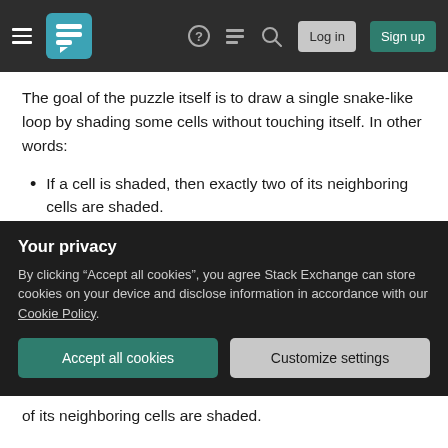Stack Exchange navigation bar with hamburger menu, logo, help, chat, search icons, Log in and Sign up buttons
The goal of the puzzle itself is to draw a single snake-like loop by shading some cells without touching itself. In other words:
If a cell is shaded, then exactly two of its neighboring cells are shaded.
All shaded cells must be connected.
There is exactly one connected component of unshaded cells inside the loop.
Note that each piece has some numbers in it. The
Your privacy
By clicking “Accept all cookies”, you agree Stack Exchange can store cookies on your device and disclose information in accordance with our Cookie Policy.
Accept all cookies
Customize settings
of its neighboring cells are shaded.